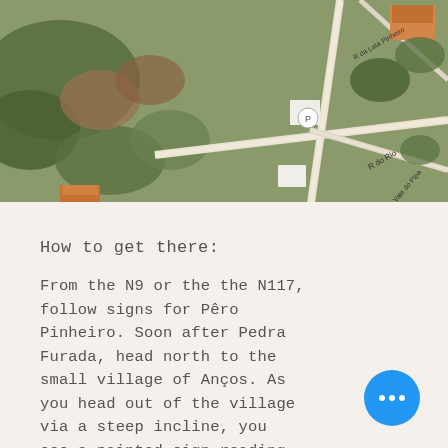[Figure (map): Aerial satellite map view showing roads including R do Rio and do Vale do Pipa, with buildings, trees, and a location pin marker visible.]
How to get there:
From the N9 or the the N117, follow signs for Pêro Pinheiro. Soon after Pedra Furada, head north to the small village of Anços. As you head out of the village via a steep incline, you see a painted sign reading 'Cascatas' on a rock wall